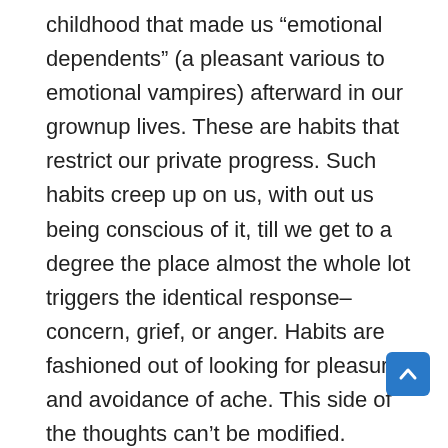childhood that made us “emotional dependents” (a pleasant various to emotional vampires) afterward in our grownup lives. These are habits that restrict our private progress. Such habits creep up on us, with out us being conscious of it, till we get to a degree the place almost the whole lot triggers the identical response–concern, grief, or anger. Habits are fashioned out of looking for pleasure and avoidance of ache. This side of the thoughts can’t be modified. Nonetheless, we will change how we understand pleasure as inner values and ache as a lack of these values. That’s when emotional habits really start to alter, permitting us to kind well-rounded personalities within the course of. Under you’ll find the highest habit-reforming workouts which have helped me overcome my psychological blocks and neurotic tendencies. They create a extra accountable, conscious, purposeful, and